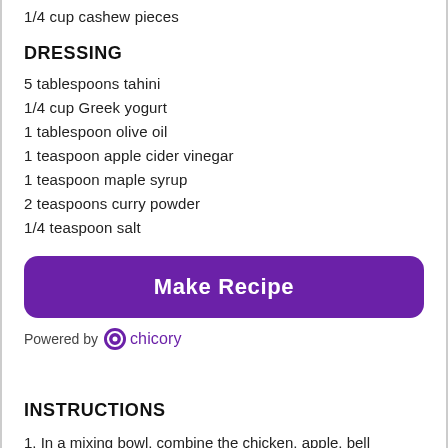1/4 cup cashew pieces
DRESSING
5 tablespoons tahini
1/4 cup Greek yogurt
1 tablespoon olive oil
1 teaspoon apple cider vinegar
1 teaspoon maple syrup
2 teaspoons curry powder
1/4 teaspoon salt
Make Recipe
Powered by chicory
INSTRUCTIONS
1. In a mixing bowl, combine the chicken, apple, bell pepper, and carrot.
2. In a separate bowl, combine all of the ingredients for the dressing. Mix until smooth. Add the dressing to the